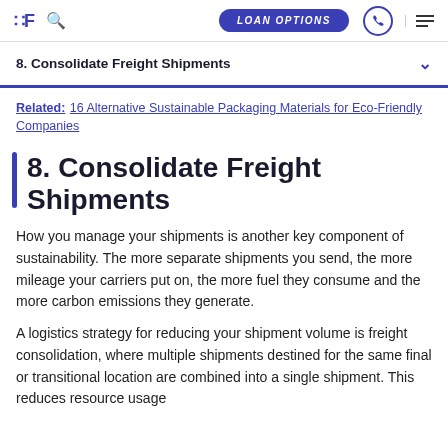LOAN OPTIONS
8. Consolidate Freight Shipments
Related: 16 Alternative Sustainable Packaging Materials for Eco-Friendly Companies
8. Consolidate Freight Shipments
How you manage your shipments is another key component of sustainability. The more separate shipments you send, the more mileage your carriers put on, the more fuel they consume and the more carbon emissions they generate.
A logistics strategy for reducing your shipment volume is freight consolidation, where multiple shipments destined for the same final or transitional location are combined into a single shipment. This reduces resource usage